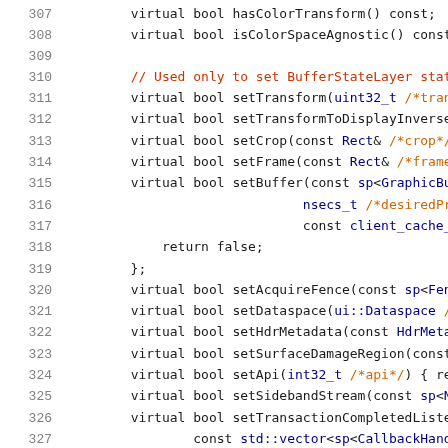307  virtual bool hasColorTransform() const;
308  virtual bool isColorSpaceAgnostic() const {
309
310  // Used only to set BufferStateLayer state
311  virtual bool setTransform(uint32_t /*transfo
312  virtual bool setTransformToDisplayInverse(b
313  virtual bool setCrop(const Rect& /*crop*/)
314  virtual bool setFrame(const Rect& /*frame*/
315  virtual bool setBuffer(const sp<GraphicBuff
316                               nsecs_t /*desiredPre
317                               const client_cache_t
318      return false;
319  };
320  virtual bool setAcquireFence(const sp<Fence
321  virtual bool setDataspace(ui::Dataspace /*da
322  virtual bool setHdrMetadata(const HdrMetada
323  virtual bool setSurfaceDamageRegion(const R
324  virtual bool setApi(int32_t /*api*/) { retu
325  virtual bool setSidebandStream(const sp<Nat
326  virtual bool setTransactionCompletedListene
327              const std::vector<sp<CallbackHandle